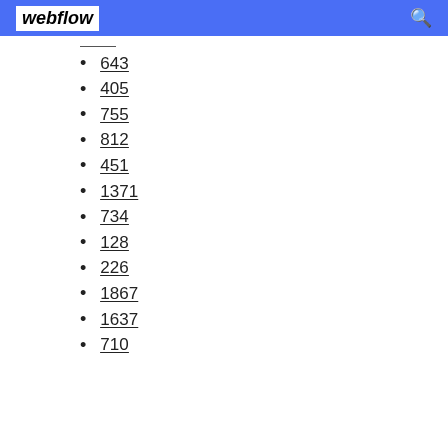webflow
643
405
755
812
451
1371
734
128
226
1867
1637
710